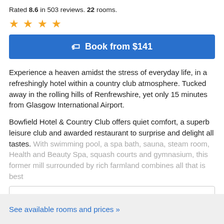Rated 8.6 in 503 reviews. 22 rooms.
★ ★ ★ ★
Book from $141
Experience a heaven amidst the stress of everyday life, in a refreshingly hotel within a country club atmosphere. Tucked away in the rolling hills of Renfrewshire, yet only 15 minutes from Glasgow International Airport.
Bowfield Hotel & Country Club offers quiet comfort, a superb leisure club and awarded restaurant to surprise and delight all tastes. With swimming pool, a spa bath, sauna, steam room, Health and Beauty Spa, squash courts and gymnasium, this former mill surrounded by rich farmland combines all that is best
Read more...
See available rooms and prices »